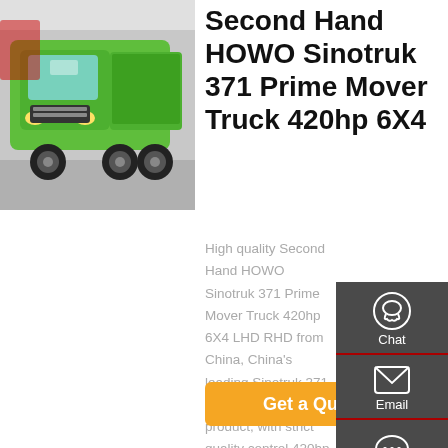[Figure (photo): Green HOWO Sinotruk dump truck at an exhibition]
Second Hand HOWO Sinotruk 371 Prime Mover Truck 420hp 6X4
High quality Second Hand HOWO Sinotruk 371 Prime Mover Truck 420hp 6X4 LHD RHD from China, China's leading Sinotruk 371 Prime Mover Truck product, with strict quality control 420hp Prime Mover Truck factories, producing high quality HOWO 6X4 rhd truck products.
[Figure (infographic): Sidebar with Chat, Email, Contact, and Top navigation icons on dark grey background]